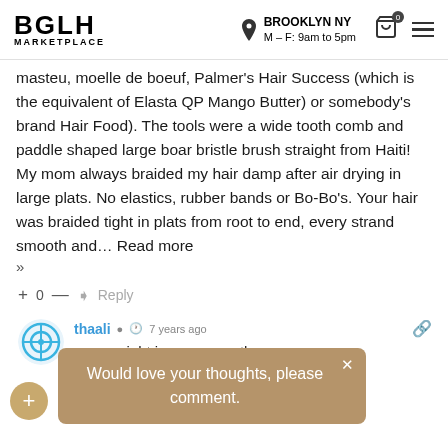BGLH MARKETPLACE | BROOKLYN NY M–F: 9am to 5pm
masteu, moelle de boeuf, Palmer's Hair Success (which is the equivalent of Elasta QP Mango Butter) or somebody's brand Hair Food). The tools were a wide tooth comb and paddle shaped large boar bristle brush straight from Haiti! My mom always braided my hair damp after air drying in large plats. No elastics, rubber bands or Bo-Bo's. Your hair was braided tight in plats from root to end, every strand smooth and… Read more »
+ 0 — → Reply
[Figure (illustration): User avatar icon with circular crosshair/target design in blue]
thaali • 7 years ago • ... weight in ounces ... th msm included ...
Would love your thoughts, please comment.